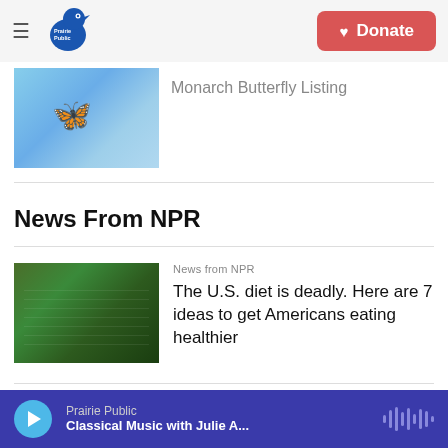Prairie Public | Donate
[Figure (photo): Monarch butterfly on a plant with blue sky background, partially visible at top]
Monarch Butterfly Listing
News From NPR
News from NPR
[Figure (photo): Grocery store produce section with shelves of vegetables and a shopper]
The U.S. diet is deadly. Here are 7 ideas to get Americans eating healthier
News from NPR
[Figure (photo): People in a meeting room, partially visible]
Prairie Public | Classical Music with Julie A... | audio player